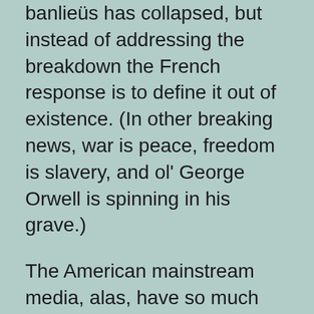banlieüs has collapsed, but instead of addressing the breakdown the French response is to define it out of existence. (In other breaking news, war is peace, freedom is slavery, and ol' George Orwell is spinning in his grave.)
The American mainstream media, alas, have so much invested in the belief that Eurosocialism is what we ought to be doing that they'll certainly take this as an excuse to drop the story. They'd rather cover